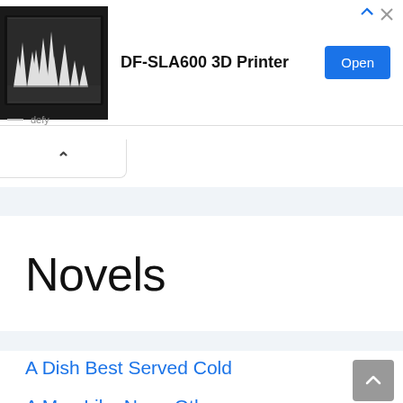[Figure (screenshot): Advertisement banner for DF-SLA600 3D Printer with photo of 3D printed objects and blue Open button]
defy
^
Novels
A Dish Best Served Cold
A Man Like None Other
Amazing Son-in-law Ye Chen